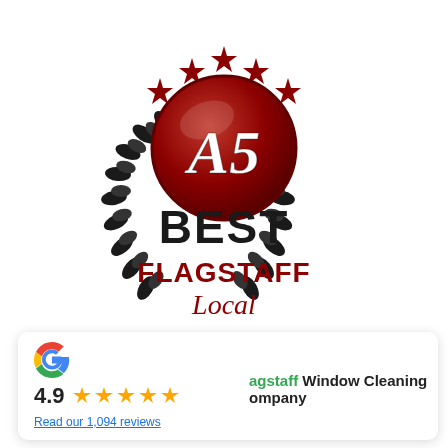[Figure (logo): A5 Best Flagstaff Local award logo with laurel wreath, red stars, red circular badge with 'A5' text, and 'BEST FLAGSTAFF Local' text]
[Figure (infographic): Google review card showing 4.9 rating with 5 gold stars and 'Read our 1,094 reviews' link, alongside 'Flagstaff Window Cleaning Company' business name]